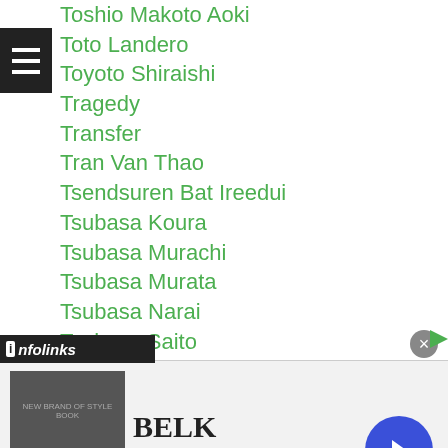Toshio Makoto Aoki
Toto Landero
Toyoto Shiraishi
Tragedy
Transfer
Tran Van Thao
Tsendsuren Bat Ireedui
Tsubasa Koura
Tsubasa Murachi
Tsubasa Murata
Tsubasa Narai
Tsukasa Saito
Tsukimi Namiki
Tsuyoshi Hamada
Tsuyoshi Kawatani
Tsuyoshi Sato
...ai Tameda
[Figure (screenshot): Infolinks advertisement bar with BELK ad showing denim promotion with www.belk.com URL and navigation arrow]